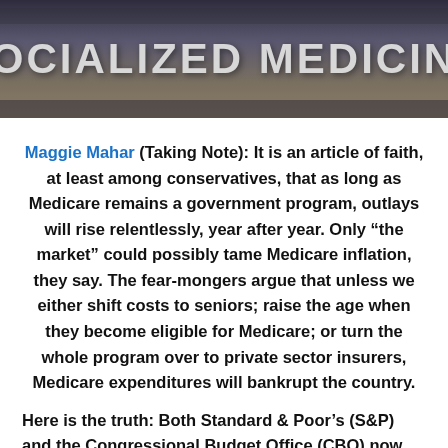[Figure (photo): Protest banner reading 'SOCIALIZED MEDICINE' held by demonstrators, shown as a cropped photograph at the top of the page.]
Maggie Mahar (Taking Note): It is an article of faith, at least among conservatives, that as long as Medicare remains a government program, outlays will rise relentlessly, year after year. Only “the market” could possibly tame Medicare inflation, they say. The fear-mongers argue that unless we either shift costs to seniors; raise the age when they become eligible for Medicare; or turn the whole program over to private sector insurers, Medicare expenditures will bankrupt the country.
Here is the truth: Both Standard & Poor’s (S&P) and the Congressional Budget Office (CBO) now have 18 months of hard data showing that Medicare spending has begun